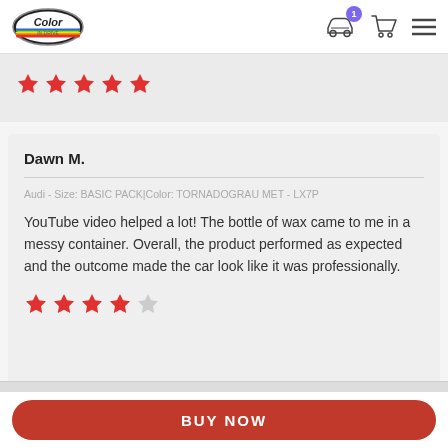Color in Drive logo with cart icon (1 item) and menu
[Figure (other): 5 red stars rating (previous review, partially visible)]
Dawn M.
Audi - Size: BASIC PACK|Color: TORNADOGRAU MET - LX7P
YouTube video helped a lot! The bottle of wax came to me in a messy container. Overall, the product performed as expected and the outcome made the car look like it was professionally.
[Figure (other): 4 red stars and 1 gray star rating]
BUY NOW